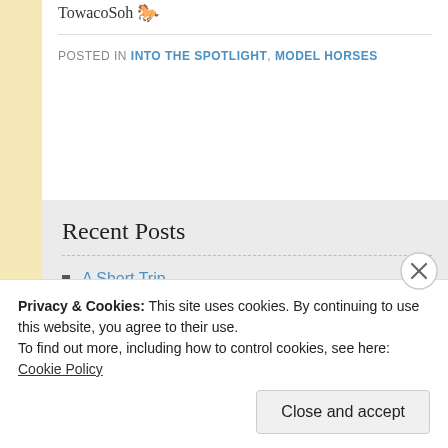TowacoSoh 🐎
POSTED IN INTO THE SPOTLIGHT, MODEL HORSES
Recent Posts
A Short Trip
Into the Spotlight… Sweetheart!
Privacy & Cookies: This site uses cookies. By continuing to use this website, you agree to their use.
To find out more, including how to control cookies, see here: Cookie Policy
Close and accept